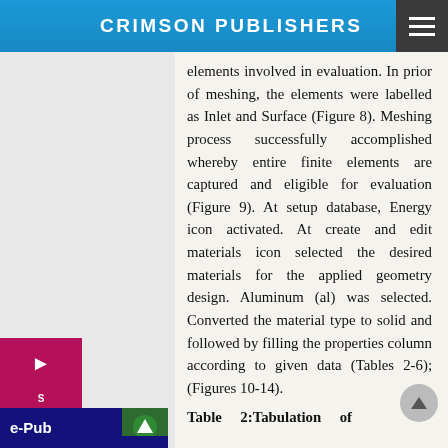CRIMSON PUBLISHERS
elements involved in evaluation. In prior of meshing, the elements were labelled as Inlet and Surface (Figure 8). Meshing process successfully accomplished whereby entire finite elements are captured and eligible for evaluation (Figure 9). At setup database, Energy icon activated. At create and edit materials icon selected the desired materials for the applied geometry design. Aluminum (al) was selected. Converted the material type to solid and followed by filling the properties column according to given data (Tables 2-6); (Figures 10-14).
Table 2:Tabulation of